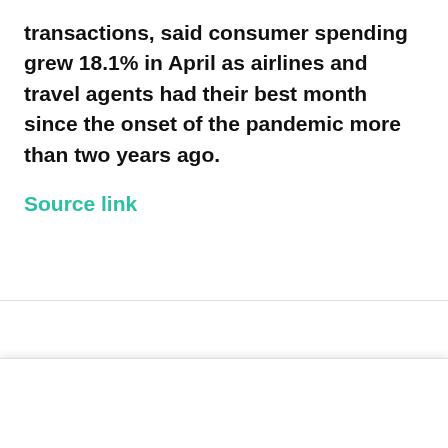transactions, said consumer spending grew 18.1% in April as airlines and travel agents had their best month since the onset of the pandemic more than two years ago.
Source link
[Figure (screenshot): Partial view of a web page element with small icons/text, partially visible behind cookie banner]
We use cookies on our website to give you the most relevant experience by remembering your preferences and repeat visits. By clicking “Accept”, you consent to the use of ALL the cookies.
Do not sell my personal information.
Cookie Settings
Accept